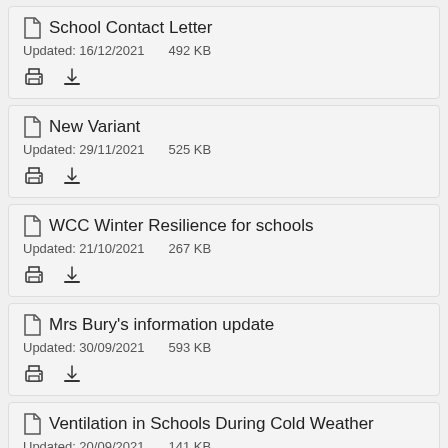School Contact Letter
Updated: 16/12/2021    492 KB
New Variant
Updated: 29/11/2021    525 KB
WCC Winter Resilience for schools
Updated: 21/10/2021    267 KB
Mrs Bury's information update
Updated: 30/09/2021    593 KB
Ventilation in Schools During Cold Weather
Updated: 20/09/2021    141 KB